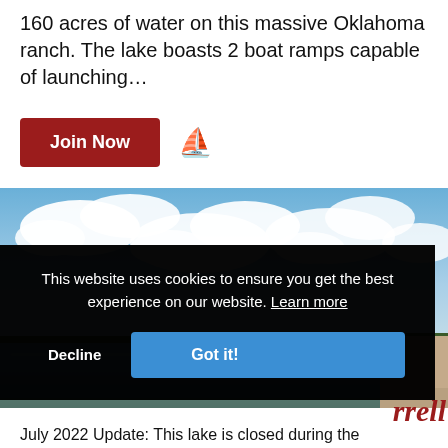160 acres of water on this massive Oklahoma ranch. The lake boasts 2 boat ramps capable of launching…
Join Now
[Figure (photo): Outdoor lake scene with blue sky and clouds, shoreline visible on right]
This website uses cookies to ensure you get the best experience on our website. Learn more
Decline
Got it!
rrell
July 2022 Update: This lake is closed during the